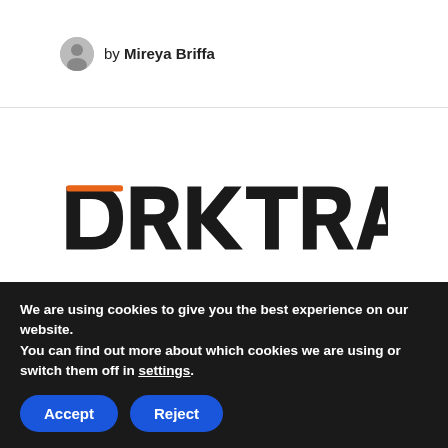by Mireya Briffa
[Figure (logo): Darktrace logo — bold black sans-serif text 'DARKTRACE' with an orange accent over the letter D]
How Autonomous Action Augments Human Teams
We are using cookies to give you the best experience on our website.
You can find out more about which cookies we are using or switch them off in settings.
Accept   Reject